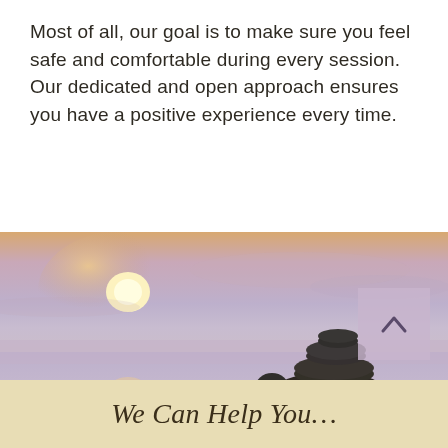Most of all, our goal is to make sure you feel safe and comfortable during every session. Our dedicated and open approach ensures you have a positive experience every time.
[Figure (photo): A serene zen scene at sunset: stacked dark smooth stones balanced on a reflective water surface, with a soft glowing sun and warm pastel sky in shades of pink, orange, and lavender. A small round stone sits beside the stack.]